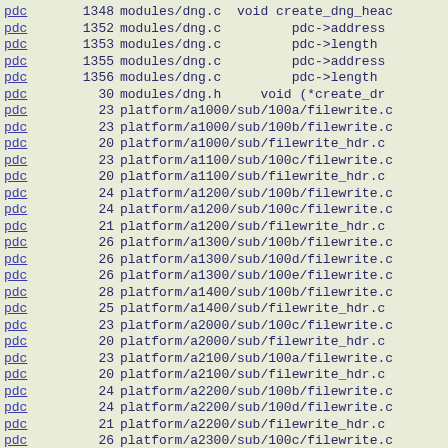pdc 1348 modules/dng.c void create_dng_head
pdc 1352 modules/dng.c pdc->address
pdc 1353 modules/dng.c pdc->length
pdc 1355 modules/dng.c pdc->address
pdc 1356 modules/dng.c pdc->length
pdc 30 modules/dng.h void (*create_dn
pdc 23 platform/a1000/sub/100a/filewrite.c
pdc 23 platform/a1000/sub/100b/filewrite.c
pdc 20 platform/a1000/sub/filewrite_hdr.c
pdc 23 platform/a1100/sub/100c/filewrite.c
pdc 20 platform/a1100/sub/filewrite_hdr.c
pdc 24 platform/a1200/sub/100b/filewrite.c
pdc 24 platform/a1200/sub/100c/filewrite.c
pdc 21 platform/a1200/sub/filewrite_hdr.c
pdc 26 platform/a1300/sub/100b/filewrite.c
pdc 26 platform/a1300/sub/100d/filewrite.c
pdc 26 platform/a1300/sub/100e/filewrite.c
pdc 28 platform/a1400/sub/100b/filewrite.c
pdc 25 platform/a1400/sub/filewrite_hdr.c
pdc 23 platform/a2000/sub/100c/filewrite.c
pdc 20 platform/a2000/sub/filewrite_hdr.c
pdc 23 platform/a2100/sub/100a/filewrite.c
pdc 20 platform/a2100/sub/filewrite_hdr.c
pdc 24 platform/a2200/sub/100b/filewrite.c
pdc 24 platform/a2200/sub/100d/filewrite.c
pdc 21 platform/a2200/sub/filewrite_hdr.c
pdc 26 platform/a2300/sub/100c/filewrite.c
pdc 26 platform/a2300/sub/100e/filewrite.c
pdc 26 platform/a2300/sub/100f/filewrite.c